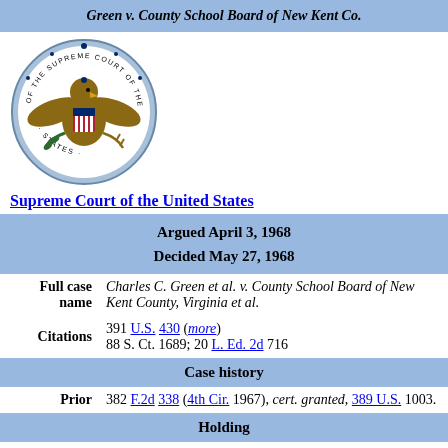Green v. County School Board of New Kent Co.
[Figure (logo): Seal of the Supreme Court of the United States — circular eagle emblem with decorative border]
Supreme Court of the United States
Argued April 3, 1968
Decided May 27, 1968
| Full case name | Charles C. Green et al. v. County School Board of New Kent County, Virginia et al. |
| Citations | 391 U.S. 430 (more)
88 S. Ct. 1689; 20 L. Ed. 2d 716 |
| Case history |  |
| Prior | 382 F.2d 338 (4th Cir. 1967), cert. granted, 389 U.S. 1003. |
| Holding |  |
|  | New Kent County's freedom of choice desegregation plan did not |
New Kent County's freedom of choice desegregation plan did not